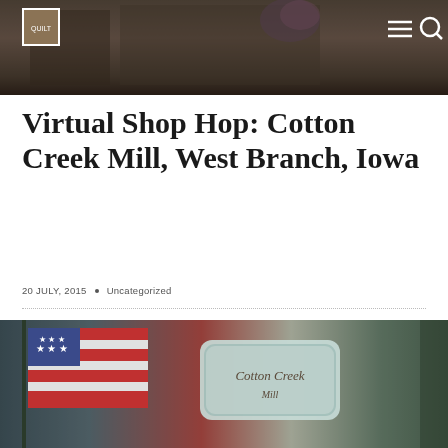[Figure (photo): Header photo showing a storefront exterior with flowers and dark tones, with navigation bar overlay including logo, hamburger menu, and search icons]
Virtual Shop Hop: Cotton Creek Mill, West Branch, Iowa
20 JULY, 2015  .  Uncategorized
[Figure (photo): Bottom photo showing a storefront with an American flag displayed in the window and a Cotton Creek Mill sign visible]